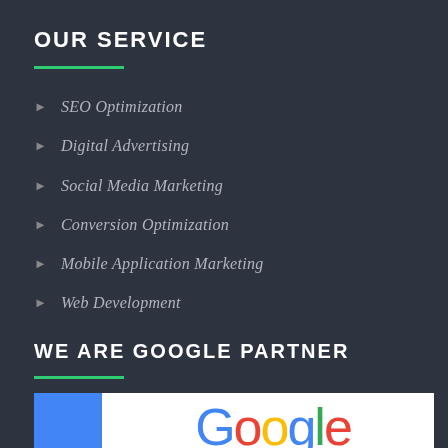OUR SERVICE
SEO Optimization
Digital Advertising
Social Media Marketing
Conversion Optimization
Mobile Application Marketing
Web Development
WE ARE GOOGLE PARTNER
[Figure (logo): Google logo on white background with blue square on the left]